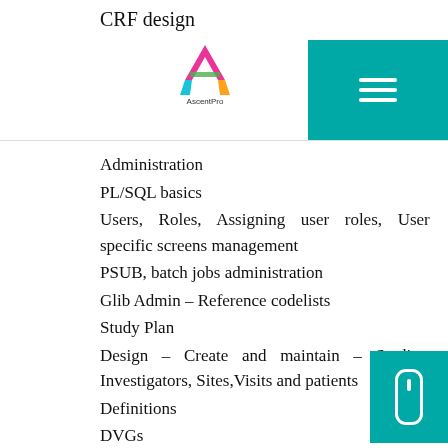CRF design
[Figure (logo): AscentPro logo with colorful 'A' icon and text 'AscentPro']
Administration
PL/SQL basics
Users, Roles, Assigning user roles, User specific screens management
PSUB, batch jobs administration
Glib Admin – Reference codelists
Study Plan
Design – Create and maintain – Studies, Investigators, Sites,Visits and patients
Definitions
DVGs
Questions, Question Groups
DCM
DCI
Validation programming